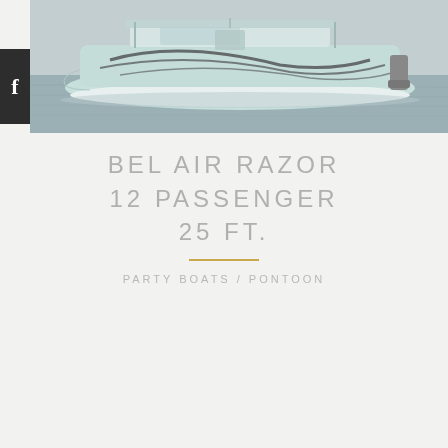[Figure (photo): A light mint/turquoise colored pontoon boat with dark decorative swoosh graphics on the hull, photographed from the side on water. The boat has a hard top canopy, outboard motor, and seating visible on deck.]
BEL AIR RAZOR
12 PASSENGER
25 FT.
PARTY BOATS / PONTOON